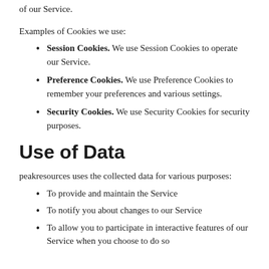of our Service.
Examples of Cookies we use:
Session Cookies. We use Session Cookies to operate our Service.
Preference Cookies. We use Preference Cookies to remember your preferences and various settings.
Security Cookies. We use Security Cookies for security purposes.
Use of Data
peakresources uses the collected data for various purposes:
To provide and maintain the Service
To notify you about changes to our Service
To allow you to participate in interactive features of our Service when you choose to do so